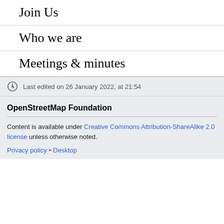Join Us
Who we are
Meetings & minutes
Last edited on 26 January 2022, at 21:54
OpenStreetMap Foundation
Content is available under Creative Commons Attribution-ShareAlike 2.0 license unless otherwise noted.
Privacy policy • Desktop